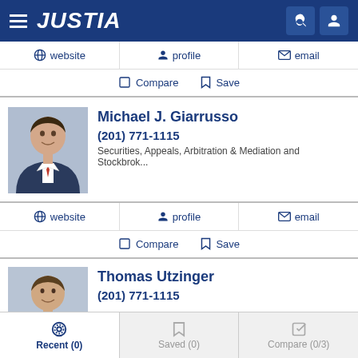JUSTIA
website  profile  email
Compare  Save
Michael J. Giarrusso
(201) 771-1115
Securities, Appeals, Arbitration & Mediation and Stockbrok...
website  profile  email
Compare  Save
Thomas Utzinger
(201) 771-1115
Recent (0)  Saved (0)  Compare (0/3)